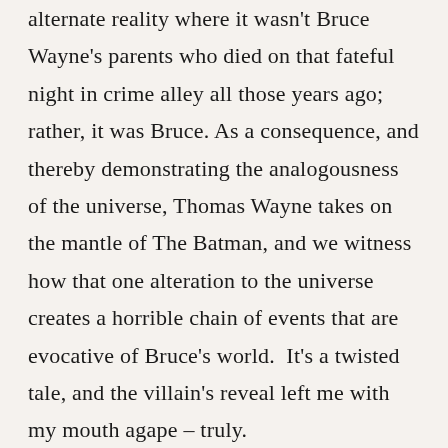alternate reality where it wasn't Bruce Wayne's parents who died on that fateful night in crime alley all those years ago; rather, it was Bruce. As a consequence, and thereby demonstrating the analogousness of the universe, Thomas Wayne takes on the mantle of The Batman, and we witness how that one alteration to the universe creates a horrible chain of events that are evocative of Bruce's world. It's a twisted tale, and the villain's reveal left me with my mouth agape – truly.
The other two stories are much shorter, and therefore not quite as resonant, but still serviceable anecdotes of The Dark Knight's war on crime; bite-size chunks of raw entertainment.